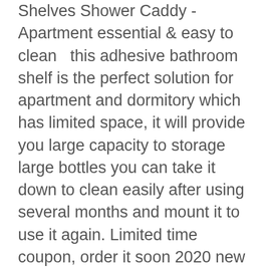Shelves Shower Caddy -  Apartment essential & easy to clean   this adhesive bathroom shelf is the perfect solution for apartment and dormitory which has limited space, it will provide you large capacity to storage large bottles you can take it down to clean easily after using several months and mount it to use it again. Limited time coupon, order it soon 2020 new version shelf is in the award-winning customers' rating and selected by amazon's choice.   adhesive shelf, no need drilling easy to install with powerful adhesive technology, free damage wall, no tools, no drilling, no screws, no holes please see the details in the video.   Official store guarantee & package include  we offer you 30-days money back guarantee and 24-hours after-sale service to let you buy with confidence package 1xshower shelf,1xsticker,5xmoveable hooks,1xinstruction,1xsoap accessory.   Decorate